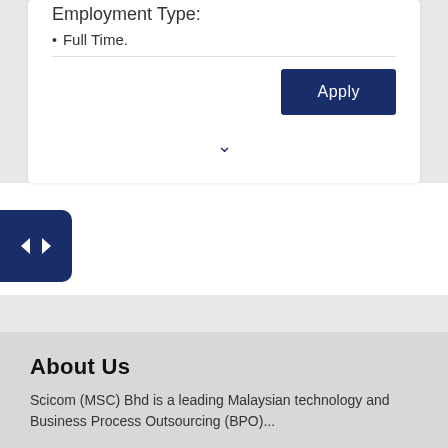Employment Type:
Full Time.
[Figure (screenshot): Apply button — dark navy blue rectangular button with white text 'Apply']
[Figure (other): Chevron/arrow pointing downward in navy blue]
[Figure (other): Dark navy blue rounded rectangle toggle button with left-right arrows icon on the left side]
About Us
Scicom (MSC) Bhd is a leading Malaysian technology and Business Process Outsourcing (BPO)...